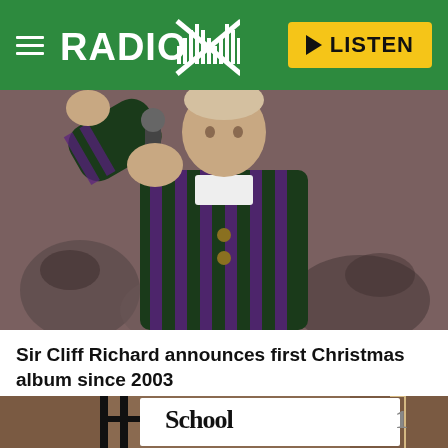Radio X — LISTEN
[Figure (photo): Man in green and purple striped blazer holding a microphone up, singing or performing outdoors, crowd in background]
Sir Cliff Richard announces first Christmas album since 2003
[Figure (photo): School closure sign on black iron railings with brick building in background, text reads 'School Cl...']